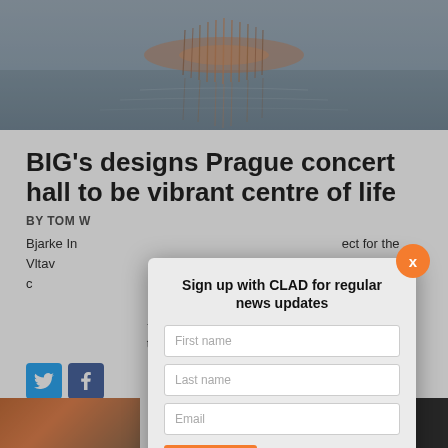[Figure (photo): Architectural rendering or photograph of a building reflected in water, with warm reddish tones against a grey misty background]
BIG’s designs Prague concert hall to be vibrant centre of life
BY TOM W
Bjarke In…ect for the Vltav…first national c…the venue wi…rchestra and will h… – which won an i…tural practices…
[Figure (screenshot): Modal popup: Sign up with CLAD for regular news updates, with First name, Last name, Email fields and a SIGN UP button. Orange X close button top right.]
[Figure (photo): Bottom strip showing partial photograph on left (warm orange/brown tones) and dark image on right]